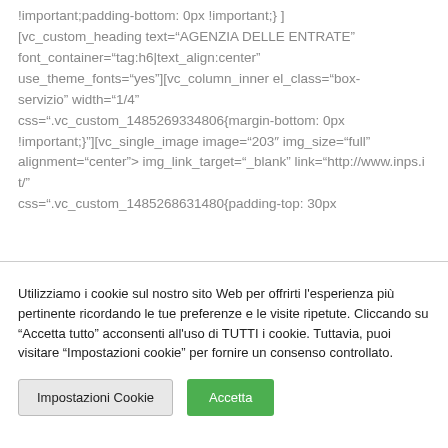!important;padding-bottom: 0px !important;} ][vc_custom_heading text="AGENZIA DELLE ENTRATE" font_container="tag:h6|text_align:center" use_theme_fonts="yes"][vc_column_inner el_class="box-servizio" width="1/4" css=".vc_custom_1485269334806{margin-bottom: 0px !important;}"][vc_single_image image="203" img_size="full" alignment="center" onclick="custom_link" img_link_target="_blank" link="http://www.inps.it/" css=".vc_custom_1485268631480{padding-top: 30px
Utilizziamo i cookie sul nostro sito Web per offrirti l'esperienza più pertinente ricordando le tue preferenze e le visite ripetute. Cliccando su "Accetta tutto" acconsenti all'uso di TUTTI i cookie. Tuttavia, puoi visitare "Impostazioni cookie" per fornire un consenso controllato.
Impostazioni Cookie
Accetta